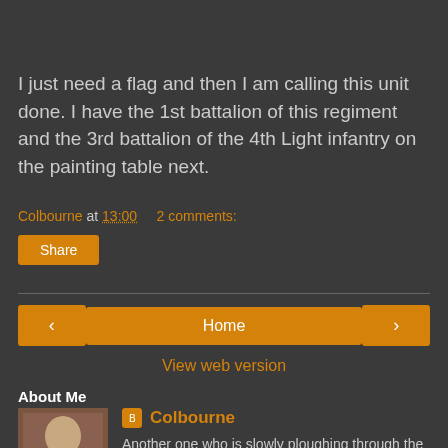I just need a flag and then I am calling this unit done. I have the 1st battalion of this regiment and the 3rd battalion of the 4th Light infantry on the painting table next.
Colbourne at 13:00    2 comments:
Share
< Home >
View web version
About Me
Colbourne
Another one who is slowly ploughing through the lead pile....